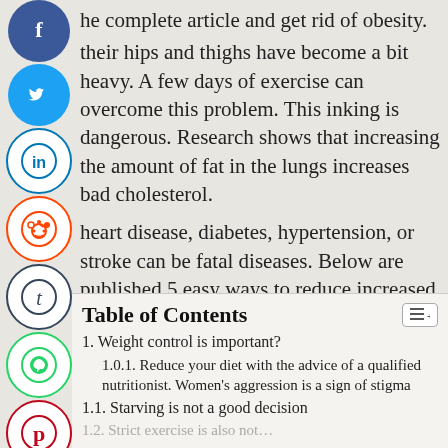he complete article and get rid of obesity.
their hips and thighs have become a bit heavy. A few days of exercise can overcome this problem. This inking is dangerous. Research shows that increasing the amount of fat in the lungs increases bad cholesterol.
heart disease, diabetes, hypertension, or stroke can be fatal diseases. Below are published 5 easy ways to reduce increased blood pressure. They can be adopted for health and survival.
Table of Contents
1. Weight control is important?
1.0.1. Reduce your diet with the advice of a qualified nutritionist. Women's aggression is a sign of stigma
1.1. Starving is not a good decision